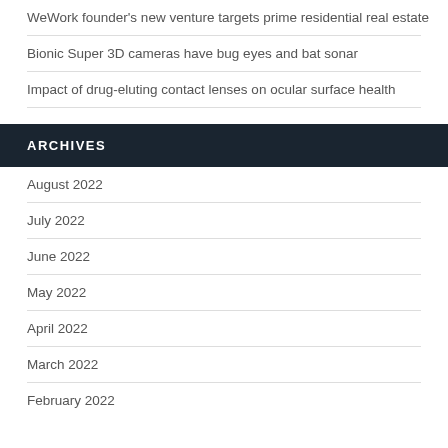WeWork founder’s new venture targets prime residential real estate
Bionic Super 3D cameras have bug eyes and bat sonar
Impact of drug-eluting contact lenses on ocular surface health
ARCHIVES
August 2022
July 2022
June 2022
May 2022
April 2022
March 2022
February 2022